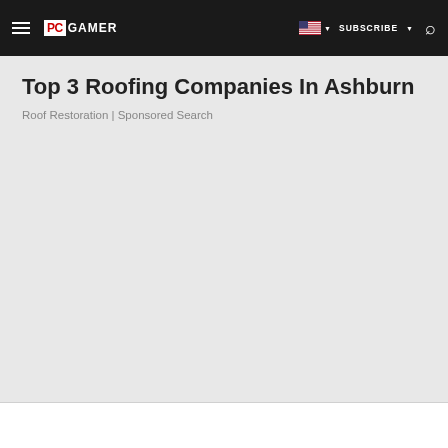PC GAMER | SUBSCRIBE
Top 3 Roofing Companies In Ashburn
Roof Restoration | Sponsored Search